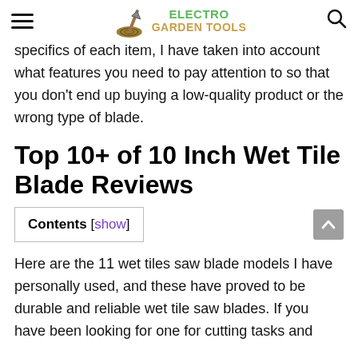ELECTRO GARDEN TOOLS
specifics of each item, I have taken into account what features you need to pay attention to so that you don't end up buying a low-quality product or the wrong type of blade.
Top 10+ of 10 Inch Wet Tile Blade Reviews
Contents [show]
Here are the 11 wet tiles saw blade models I have personally used, and these have proved to be durable and reliable wet tile saw blades. If you have been looking for one for cutting tasks and